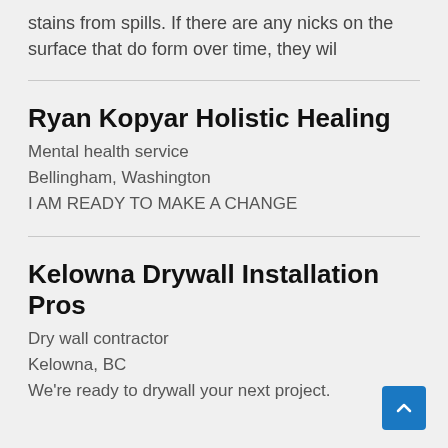stains from spills. If there are any nicks on the surface that do form over time, they wil
Ryan Kopyar Holistic Healing
Mental health service
Bellingham, Washington
I AM READY TO MAKE A CHANGE
Kelowna Drywall Installation Pros
Dry wall contractor
Kelowna, BC
We're ready to drywall your next project.